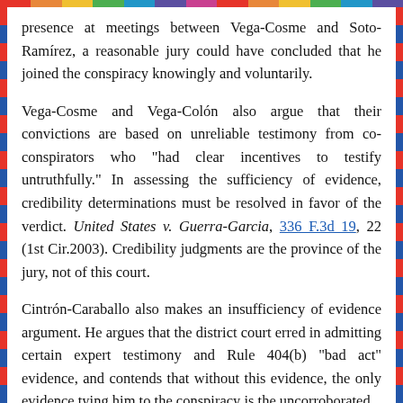presence at meetings between Vega-Cosme and Soto-Ramírez, a reasonable jury could have concluded that he joined the conspiracy knowingly and voluntarily.
Vega-Cosme and Vega-Colón also argue that their convictions are based on unreliable testimony from co-conspirators who "had clear incentives to testify untruthfully." In assessing the sufficiency of evidence, credibility determinations must be resolved in favor of the verdict. United States v. Guerra-Garcia, 336 F.3d 19, 22 (1st Cir.2003). Credibility judgments are the province of the jury, not of this court.
Cintrón-Caraballo also makes an insufficiency of evidence argument. He argues that the district court erred in admitting certain expert testimony and Rule 404(b) "bad act" evidence, and contends that without this evidence, the only evidence tying him to the conspiracy is the uncorroborated